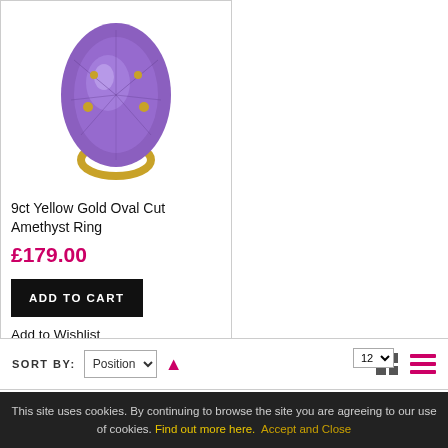[Figure (photo): Gold ring with large oval-cut purple amethyst gemstone set in 9ct yellow gold prongs, photographed on white background]
9ct Yellow Gold Oval Cut Amethyst Ring
£179.00
ADD TO CART
Add to Wishlist
SORT BY: Position ▲
This site uses cookies. By continuing to browse the site you are agreeing to our use of cookies. Find out more here. Accept and Close